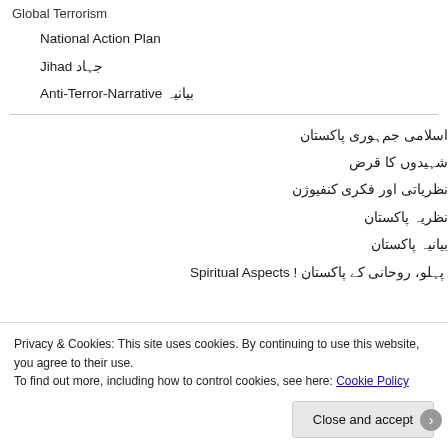Global Terrorism
National Action Plan
Jihad جہاد
Anti-Terror-Narrative بیانیہ
اسلامی جم‌ہوری‌ پاکستان
شہید‌وں کا قرض
نظریاتی اور فکری کنفیوژن
نظریہ‌ پاکستان
بیانیہ‌ پاکستان
پاکستان کے روحانی پہلو ! Spiritual Aspects
Privacy & Cookies: This site uses cookies. By continuing to use this website, you agree to their use.
To find out more, including how to control cookies, see here: Cookie Policy
Close and accept